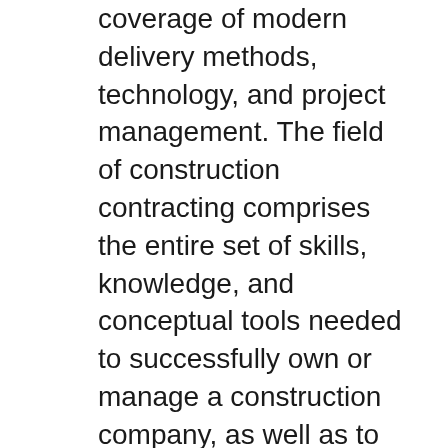coverage of modern delivery methods, technology, and project management. The field of construction contracting comprises the entire set of skills, knowledge, and conceptual tools needed to successfully own or manage a construction company, as well as to undertake any actual project.
Construction Methods and Management (8th Edition) PDF - KINDLE - EPUB - MOBI Construction Methods and Management (8th Edition) book in english language [download] Construction Methods and Management (8th Edition) in format PDF Construction Methods and Management (8th Edition) download free of book in format